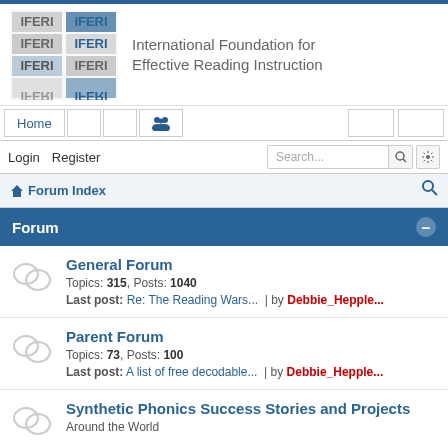[Figure (logo): IFERI logo with tiled text and organization name: International Foundation for Effective Reading Instruction]
Home
[Figure (illustration): People/group icon in navigation bar]
Login  Register  Search...
Forum Index
Forum
General Forum
Topics: 315, Posts: 1040
Last post: Re: The Reading Wars... | by Debbie_Hepple...
Parent Forum
Topics: 73, Posts: 100
Last post: A list of free decodable... | by Debbie_Hepple...
Synthetic Phonics Success Stories and Projects Around the World